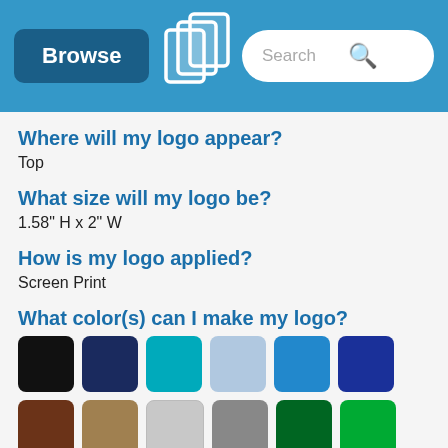Browse | [Logo] | Search
Where will my logo appear?
Top
What size will my logo be?
1.58" H x 2" W
How is my logo applied?
Screen Print
What color(s) can I make my logo?
[Figure (infographic): Grid of 24 color swatches showing available logo colors including black, navy, teal, light blue, blue, dark blue, brown, tan, light gray, dark gray, dark green, green, lime, orange, pink, magenta, purple, red, maroon, medium gray, beige, white, gold/amber, yellow.]